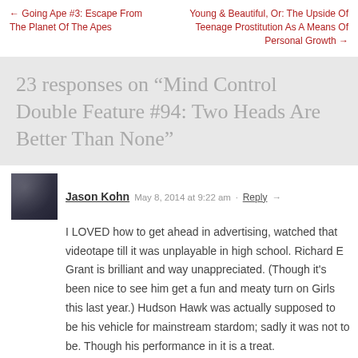← Going Ape #3: Escape From The Planet Of The Apes
Young & Beautiful, Or: The Upside Of Teenage Prostitution As A Means Of Personal Growth →
23 responses on "Mind Control Double Feature #94: Two Heads Are Better Than None"
Jason Kohn   May 8, 2014 at 9:22 am ·  Reply →
I LOVED how to get ahead in advertising, watched that videotape till it was unplayable in high school. Richard E Grant is brilliant and way unappreciated. (Though it's been nice to see him get a fun and meaty turn on Girls this last year.) Hudson Hawk was actually supposed to be his vehicle for mainstream stardom; sadly it was not to be. Though his performance in it is a treat.
Evil Genius   May 8, 2014 at 9:24 am ·  Reply →